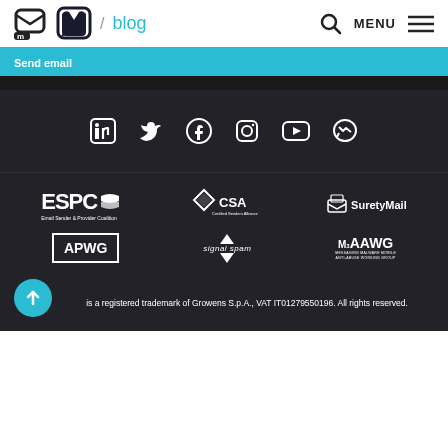m / blog  MENU
Send email
[Figure (other): Social media icons row: LinkedIn, Twitter, Facebook, Instagram, YouTube, Messenger]
[Figure (logo): ESPC Email Sender & Provider Coalition logo]
[Figure (logo): CSA Certified Senders Alliance logo]
[Figure (logo): SuretyMail logo]
[Figure (logo): APWG logo]
[Figure (logo): signal spam logo]
[Figure (logo): M3AAWG Messaging Malware Mobile Anti-Abuse Working Group logo]
is a registered trademark of Growens S.p.A., VAT IT01279550196. All rights reserved.